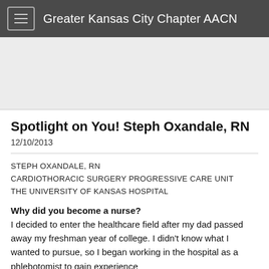Greater Kansas City Chapter AACN
[Figure (photo): Partial image/banner visible at top of article page with a dark navy strip on the right side and a small green dot on the left.]
Spotlight on You! Steph Oxandale, RN
12/10/2013
STEPH OXANDALE, RN
CARDIOTHORACIC SURGERY PROGRESSIVE CARE UNIT
THE UNIVERSITY OF KANSAS HOSPITAL
Why did you become a nurse?
I decided to enter the healthcare field after my dad passed away my freshman year of college. I didn't know what I wanted to pursue, so I began working in the hospital as a phlebotomist to gain experience